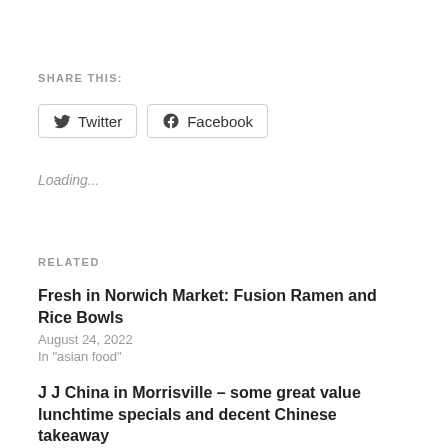SHARE THIS:
Twitter  Facebook
Loading...
RELATED
Fresh in Norwich Market: Fusion Ramen and Rice Bowls
August 24, 2022
In "asian food"
J J China in Morrisville – some great value lunchtime specials and decent Chinese takeaway
August 3, 2017
In "Morrisville"